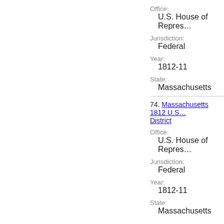Office:
U.S. House of Repres…
Jurisdiction:
Federal
Year:
1812-11
State:
Massachusetts
74. Massachusetts 1812 U.S. … District
Office:
U.S. House of Repres…
Jurisdiction:
Federal
Year:
1812-11
State:
Massachusetts